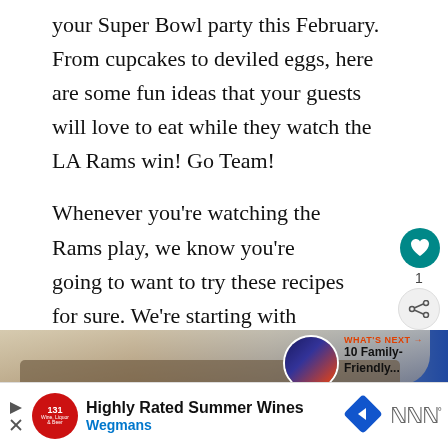your Super Bowl party this February. From cupcakes to deviled eggs, here are some fun ideas that your guests will love to eat while they watch the LA Rams win! Go Team!
Whenever you're watching the Rams play, we know you're going to want to try these recipes for sure. We're starting with dessert, because we love these simple, festive cupcakes, and then we dive into all those chicken wings!
[Figure (photo): Photo of cupcakes or food items with a 'WHAT'S NEXT' overlay thumbnail in the upper right showing '10 Family-Friendly...' with a circular thumbnail image]
[Figure (infographic): Advertisement banner for Wegmans 'Highly Rated Summer Wines' with red circular logo, blue arrow navigation icon, and weather widget]